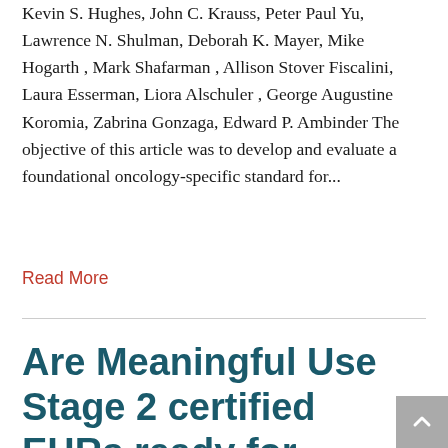Kevin S. Hughes, John C. Krauss, Peter Paul Yu, Lawrence N. Shulman, Deborah K. Mayer, Mike Hogarth , Mark Shafarman , Allison Stover Fiscalini, Laura Esserman, Liora Alschuler , George Augustine Koromia, Zabrina Gonzaga, Edward P. Ambinder The objective of this article was to develop and evaluate a foundational oncology-specific standard for...
Read More
Are Meaningful Use Stage 2 certified EHRs ready for